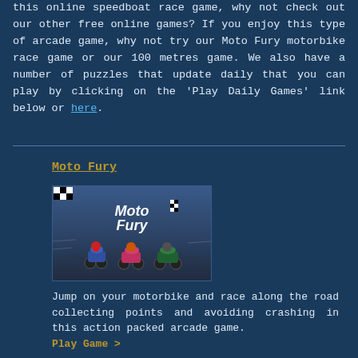this online speedboat race game, why not check out our other free online games? If you enjoy this type of arcade game, why not try our Moto Fury motorbike race game or our 100 metres game. We also have a number of puzzles that update daily that you can play by clicking on the 'Play Daily Games' link below or here.
Moto Fury
[Figure (photo): Moto Fury game screenshot showing motorcyclists racing on a track with the title 'Moto Fury' displayed]
Jump on your motorbike and race along the road collecting points and avoiding crashing in this action packed arcade game.
Play Game >